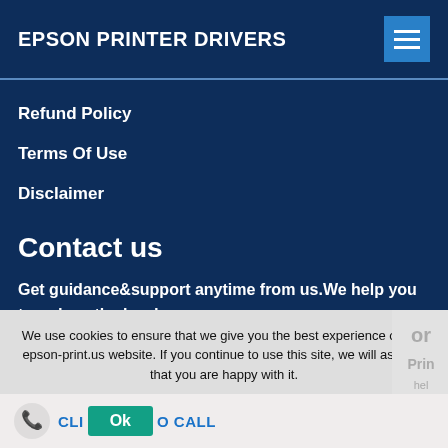EPSON PRINTER DRIVERS
Refund Policy
Terms Of Use
Disclaimer
Contact us
Get guidance&support anytime from us.We help you to reduce the burden.
Call us @ (800) 874-8552
We use cookies to ensure that we give you the best experience on our epson-print.us website. If you continue to use this site, we will assume that you are happy with it.